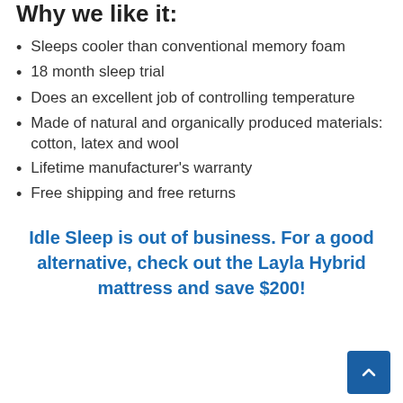Why we like it:
Sleeps cooler than conventional memory foam
18 month sleep trial
Does an excellent job of controlling temperature
Made of natural and organically produced materials: cotton, latex and wool
Lifetime manufacturer's warranty
Free shipping and free returns
Idle Sleep is out of business. For a good alternative, check out the Layla Hybrid mattress and save $200!